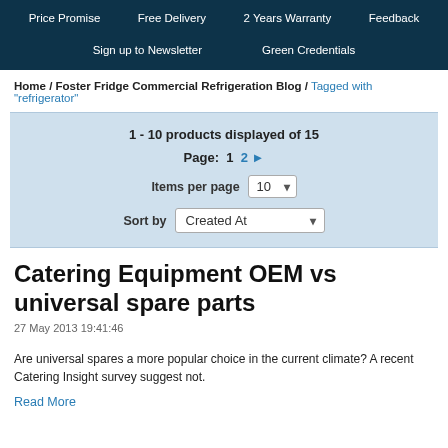Price Promise | Free Delivery | 2 Years Warranty | Feedback | Sign up to Newsletter | Green Credentials
Home / Foster Fridge Commercial Refrigeration Blog / Tagged with "refrigerator"
1 - 10 products displayed of 15
Page: 1 2 ►
Items per page 10
Sort by Created At
Catering Equipment OEM vs universal spare parts
27 May 2013 19:41:46
Are universal spares a more popular choice in the current climate? A recent Catering Insight survey suggest not.
Read More